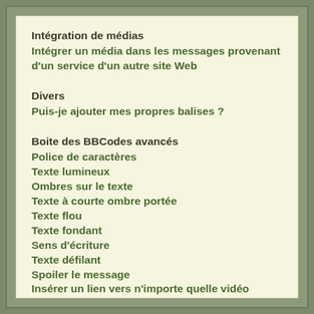Intégration de médias
Intégrer un média dans les messages provenant d'un service d'un autre site Web
Divers
Puis-je ajouter mes propres balises ?
Boite des BBCodes avancés
Police de caractères
Texte lumineux
Ombres sur le texte
Texte à courte ombre portée
Texte flou
Texte fondant
Sens d'écriture
Texte défilant
Spoiler le message
Insérer un lien vers n'importe quelle vidéo internet